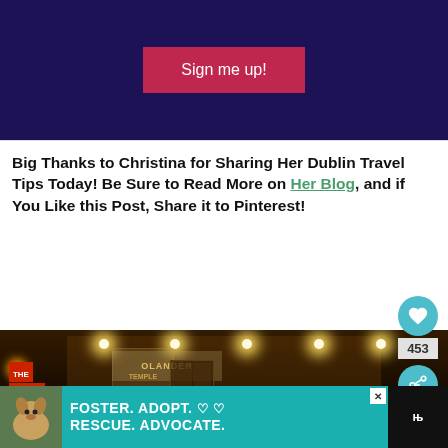[Figure (screenshot): Dark navy/purple banner with a red/pink 'Sign me up!' button in the center]
Big Thanks to Christina for Sharing Her Dublin Travel Tips Today! Be Sure to Read More on Her Blog, and if You Like this Post, Share it to Pinterest!
[Figure (photo): Nighttime photo of Temple Bar area in Dublin — illuminated building facade with warm golden lights, fairy lights, signs reading 'OLANDER', 'THE', 'EMPLE', 'BAR'. Overlay elements: Pinterest save button (teal circle with heart icon), share count '453', share icon (teal circle). 'WHAT'S NEXT' callout with thumbnail and text 'Travel Tips from A Local...'. Bottom ad banner: 'FOSTER. ADOPT. ♡ ♡ RESCUE. ADVOCATE.' on teal background with dog photo.]